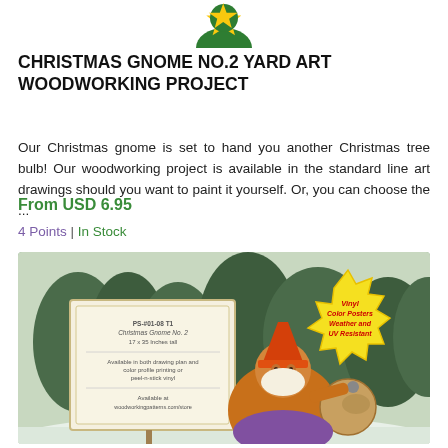[Figure (illustration): Partial Christmas gnome logo/icon at top, cropped]
CHRISTMAS GNOME NO.2 YARD ART WOODWORKING PROJECT
Our Christmas gnome is set to hand you another Christmas tree bulb! Our woodworking project is available in the standard line art drawings should you want to paint it yourself. Or, you can choose the ...
From USD 6.95
4 Points | In Stock
[Figure (photo): Product photo showing a Christmas gnome yard art woodworking project in an outdoor winter/snow setting. A sign on the left lists product details. A starburst badge on the right reads 'Vinyl Color Posters Weather and UV Resistant'. The gnome character illustration is visible in the foreground.]